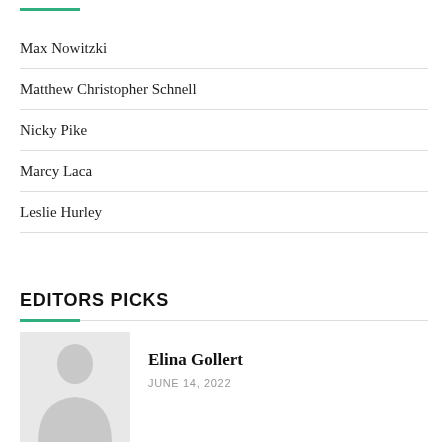Max Nowitzki
Matthew Christopher Schnell
Nicky Pike
Marcy Laca
Leslie Hurley
EDITORS PICKS
[Figure (photo): Portrait photo placeholder with silhouette figure on light grey background]
Elina Gollert
JUNE 14, 2022